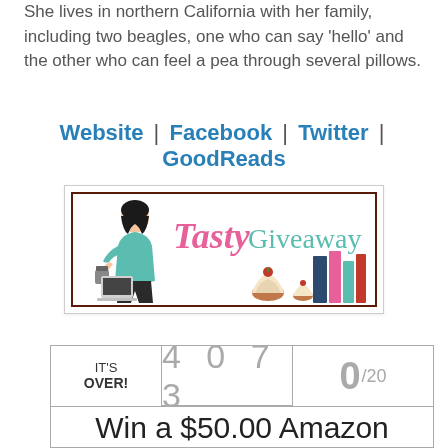She lives in northern California with her family, including two beagles, one who can say 'hello' and the other who can feel a pea through several pillows.
Website | Facebook | Twitter | GoodReads
[Figure (logo): Tasty Giveaway logo with a woman holding a coffee cup, books, and cupcakes]
| IT'S OVER! | 4 0 7 3 | 0/20 |
| --- | --- | --- |
| Win a $50.00 Amazon eGift Card |  |  |